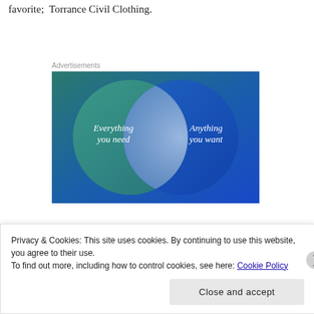favorite;  Torrance Civil Clothing.
Advertisements
[Figure (infographic): Venn diagram advertisement with two overlapping circles on a blue-green gradient background. Left circle (teal/green) labeled 'Everything you need', right circle (blue) labeled 'Anything you want'. The overlapping area is a lighter blue-gray.]
Privacy & Cookies: This site uses cookies. By continuing to use this website, you agree to their use.
To find out more, including how to control cookies, see here: Cookie Policy
Close and accept